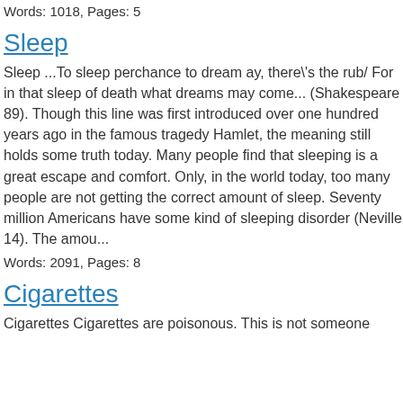Words: 1018, Pages: 5
Sleep
Sleep ...To sleep perchance to dream ay, there\'s the rub/ For in that sleep of death what dreams may come... (Shakespeare 89). Though this line was first introduced over one hundred years ago in the famous tragedy Hamlet, the meaning still holds some truth today. Many people find that sleeping is a great escape and comfort. Only, in the world today, too many people are not getting the correct amount of sleep. Seventy million Americans have some kind of sleeping disorder (Neville 14). The amou...
Words: 2091, Pages: 8
Cigarettes
Cigarettes Cigarettes are poisonous. This is not someone